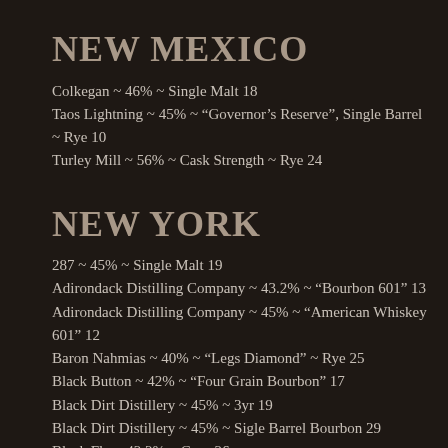NEW MEXICO
Colkegan ~ 46% ~ Single Malt 18
Taos Lightning ~ 45% ~ "Governor's Reserve", Single Barrel ~ Rye 10
Turley Mill ~ 56% ~ Cask Strength ~ Rye 24
NEW YORK
287 ~ 45% ~ Single Malt 19
Adirondack Distilling Company ~ 43.2% ~ "Bourbon 601" 13
Adirondack Distilling Company ~ 45% ~ "American Whiskey 601" 12
Baron Nahmias ~ 40% ~ "Legs Diamond" ~ Rye 25
Black Button ~ 42% ~ "Four Grain Bourbon" 17
Black Dirt Distillery ~ 45% ~ 3yr 19
Black Dirt Distillery ~ 45% ~ Sigle Barrel Bourbon 29
Black Fly ~ 42.2% ~ Corn 26